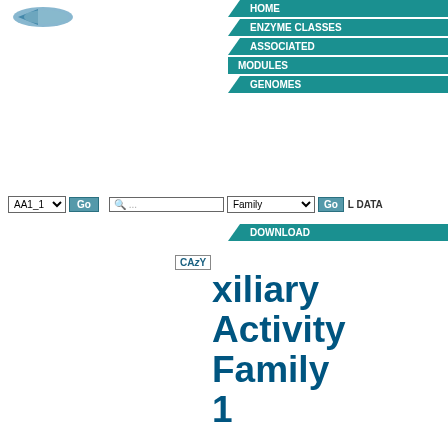[Figure (logo): CAZy database logo - blue fish/arrow shape]
HOME | ENZYME CLASSES | ASSOCIATED MODULES | GENOMES | L DATA | DOWNLOAD | CAzY
AA1_1 Go  ...  Family  Go  L DATA
xiliary Activity Family 1
|  |  |
| --- | --- |
| Activities in Family | Laccase / diphenol:oxygen oxidoreductase / ferroxidase (EC 1.10.3.-); ferroxidase (EC 1.10.3.-); Laccase-like multicopper oxidase (EC 1.10.3.-) |
| Note | The characterized AA1 enzymes are multicopper oxidases use diphe... |